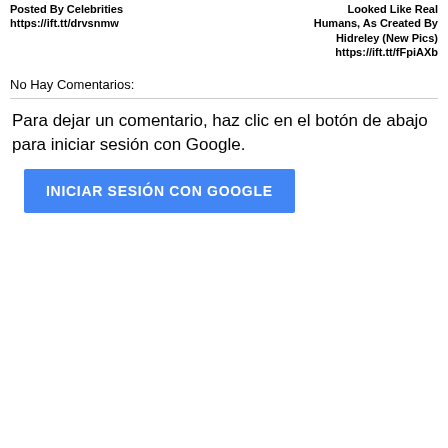Posted By Celebrities https://ift.tt/drvsnmw
Looked Like Real Humans, As Created By Hidreley (New Pics) https://ift.tt/fFpiAXb
No Hay Comentarios:
Para dejar un comentario, haz clic en el botón de abajo para iniciar sesión con Google.
INICIAR SESIÓN CON GOOGLE